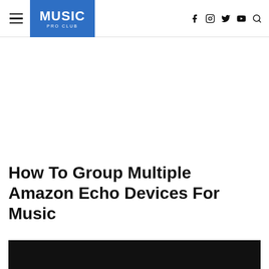MUSIC PRO CLUB
How To Group Multiple Amazon Echo Devices For Music
[Figure (photo): Black image placeholder / article featured image at bottom of page]